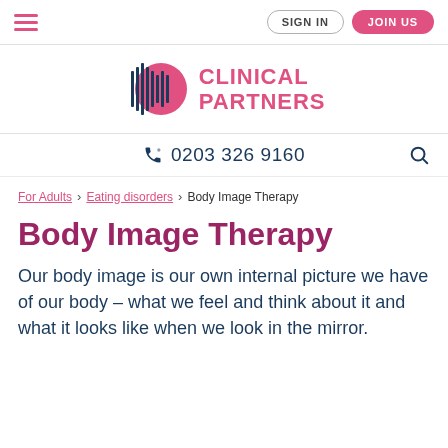SIGN IN  JOIN US
[Figure (logo): Clinical Partners logo with stylized circular waveform icon and pink text reading CLINICAL PARTNERS]
0203 326 9160
For Adults > Eating disorders > Body Image Therapy
Body Image Therapy
Our body image is our own internal picture we have of our body – what we feel and think about it and what it looks like when we look in the mirror.